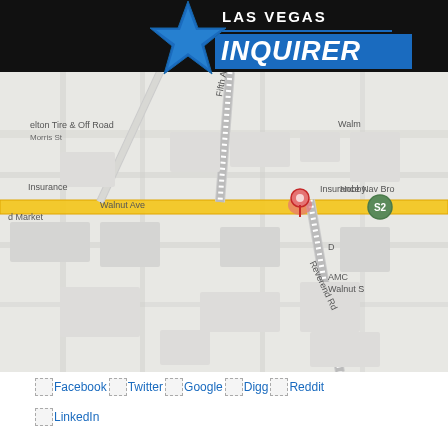LAS VEGAS INQUIRER
[Figure (map): Google Maps view showing intersection of Walnut Ave and Reverend Rd in a suburban area. Location pin marker visible at intersection. Nearby labels: elton Tire & Off Road, Morris St, Walm, Fifth Ave, Hobby, Insurance, Insurance Navy Brok, d Market, Walnut Ave, AMC Walnut S, S2 highway marker.]
Facebook Twitter Google Digg Reddit
LinkedIn